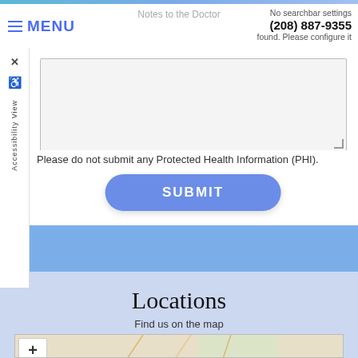Notes to the Doctor
MENU
No searchbar settings found. Please configure it
(208) 887-9355
Please do not submit any Protected Health Information (PHI).
SUBMIT
Locations
Find us on the map
[Figure (map): Interactive map showing location with zoom controls (+/-)]